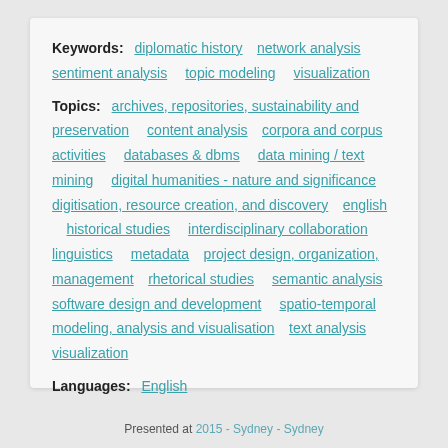Keywords: diplomatic history  network analysis  sentiment analysis  topic modeling  visualization
Topics: archives, repositories, sustainability and preservation  content analysis  corpora and corpus activities  databases & dbms  data mining / text mining  digital humanities - nature and significance  digitisation, resource creation, and discovery  english  historical studies  interdisciplinary collaboration  linguistics  metadata  project design, organization, management  rhetorical studies  semantic analysis  software design and development  spatio-temporal modeling, analysis and visualisation  text analysis  visualization
Languages: English
Presented at 2015 - Sydney - Sydney